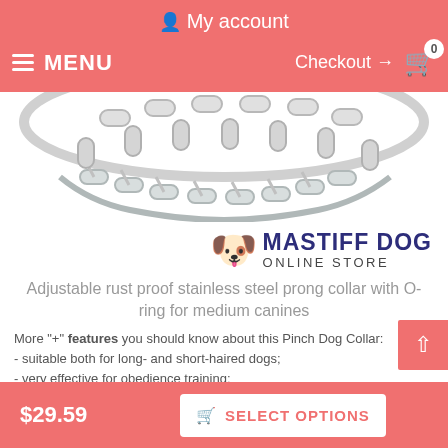My account
MENU  Checkout → 0
[Figure (photo): Close-up photo of a stainless steel prong/pinch dog collar showing metal chain links and prongs]
[Figure (logo): Mastiff Dog Online Store logo with cartoon mastiff dog face icon and bold navy text]
Adjustable rust proof stainless steel prong collar with O-ring for medium canines
More "+" features you should know about this Pinch Dog Collar:
- suitable both for long- and short-haired dogs;
- very effective for obedience training;
$29.59
SELECT OPTIONS